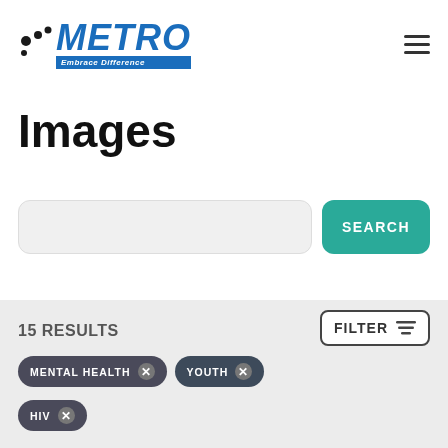[Figure (logo): METRO logo with blue dots and 'Embrace Difference' tagline on blue background]
Images
[Figure (screenshot): Search input field (empty) with a teal SEARCH button]
15 RESULTS
MENTAL HEALTH ×
YOUTH ×
HIV ×